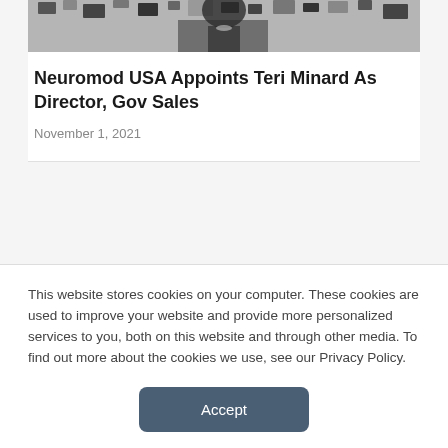[Figure (photo): Partial photo of a person wearing a black and white patterned outfit, cropped at the top of the page]
Neuromod USA Appoints Teri Minard As Director, Gov Sales
November 1, 2021
This website stores cookies on your computer. These cookies are used to improve your website and provide more personalized services to you, both on this website and through other media. To find out more about the cookies we use, see our Privacy Policy.